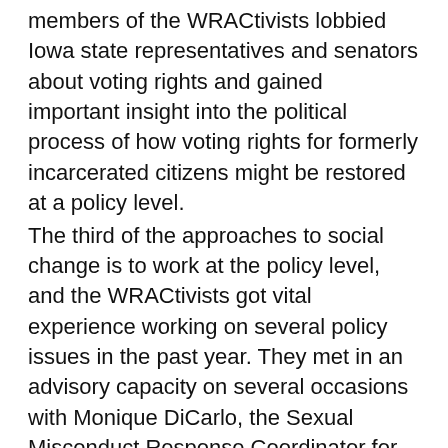members of the WRACtivists lobbied Iowa state representatives and senators about voting rights and gained important insight into the political process of how voting rights for formerly incarcerated citizens might be restored at a policy level. The third of the approaches to social change is to work at the policy level, and the WRACtivists got vital experience working on several policy issues in the past year. They met in an advisory capacity on several occasions with Monique DiCarlo, the Sexual Misconduct Response Coordinator for the University of Iowa, to share their insight and opinions related to the 2017 Climate Survey and the recommendations which were made based on the data collected from that survey. They saw first hand how policy is created at a complex institution like the University of Iowa and were able to positively influence the process from the viewpoint of the people most impacted by that policy.